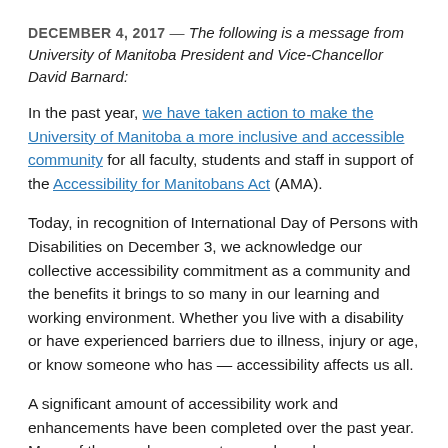DECEMBER 4, 2017 — The following is a message from University of Manitoba President and Vice-Chancellor David Barnard:
In the past year, we have taken action to make the University of Manitoba a more inclusive and accessible community for all faculty, students and staff in support of the Accessibility for Manitobans Act (AMA).
Today, in recognition of International Day of Persons with Disabilities on December 3, we acknowledge our collective accessibility commitment as a community and the benefits it brings to so many in our learning and working environment. Whether you live with a disability or have experienced barriers due to illness, injury or age, or know someone who has — accessibility affects us all.
A significant amount of accessibility work and enhancements have been completed over the past year. Many of these enhancements were based on suggestions from you about how we can improve our university...